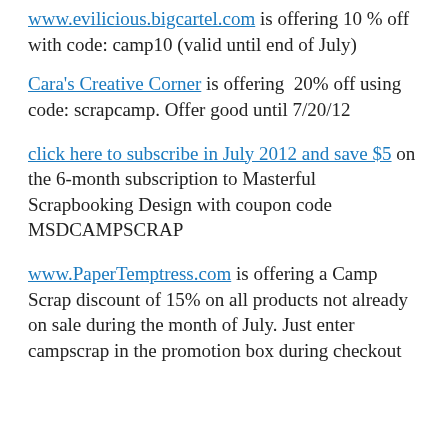www.evilicious.bigcartel.com is offering 10% off with code: camp10 (valid until end of July)
Cara's Creative Corner is offering 20% off using code: scrapcamp. Offer good until 7/20/12
click here to subscribe in July 2012 and save $5 on the 6-month subscription to Masterful Scrapbooking Design with coupon code MSDCAMPSCRAP
www.PaperTemptress.com is offering a Camp Scrap discount of 15% on all products not already on sale during the month of July. Just enter campscrap in the promotion box during checkout